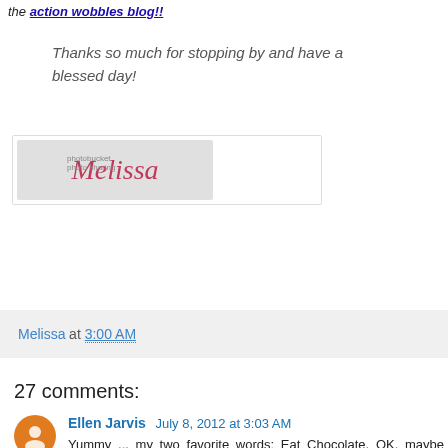the action wobbles blog!!
Thanks so much for stopping by and have a blessed day!
[Figure (photo): Signature image showing the name 'Melissa' in cursive red script on a gray background, with a photobucket watermark overlay.]
Melissa at 3:00 AM
27 comments:
Ellen Jarvis July 8, 2012 at 3:03 AM
Yummy ... my two favorite words: Eat Chocolate. OK, maybe they are my second favorite set of two words. My favorite is (for today): "It's PAYDAY!" Hey, isn't that a